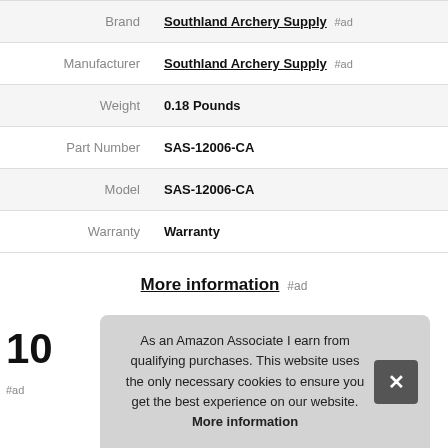|  |  |
| --- | --- |
| Brand | Southland Archery Supply #ad |
| Manufacturer | Southland Archery Supply #ad |
| Weight | 0.18 Pounds |
| Part Number | SAS-12006-CA |
| Model | SAS-12006-CA |
| Warranty | Warranty |
More information #ad
As an Amazon Associate I earn from qualifying purchases. This website uses the only necessary cookies to ensure you get the best experience on our website. More information